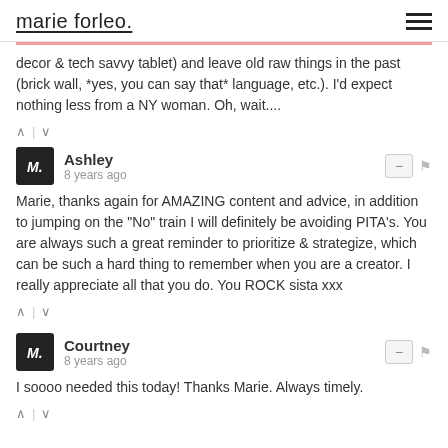marie forleo.
decor & tech savvy tablet) and leave old raw things in the past (brick wall, *yes, you can say that* language, etc.). I'd expect nothing less from a NY woman. Oh, wait....
Ashley · 8 years ago
Marie, thanks again for AMAZING content and advice, in addition to jumping on the "No" train I will definitely be avoiding PITA's. You are always such a great reminder to prioritize & strategize, which can be such a hard thing to remember when you are a creator. I really appreciate all that you do. You ROCK sista xxx
Courtney · 8 years ago
I soooo needed this today! Thanks Marie. Always timely.